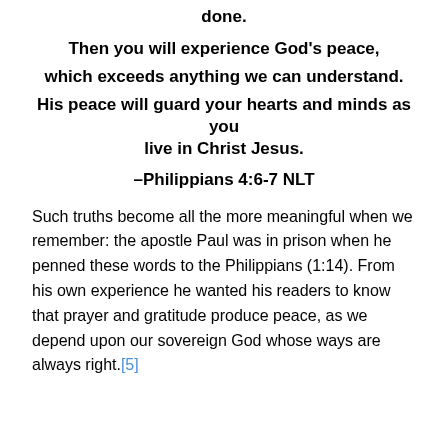done.
Then you will experience God's peace,
which exceeds anything we can understand.
His peace will guard your hearts and minds as you live in Christ Jesus.
–Philippians 4:6-7 NLT
Such truths become all the more meaningful when we remember: the apostle Paul was in prison when he penned these words to the Philippians (1:14). From his own experience he wanted his readers to know that prayer and gratitude produce peace, as we depend upon our sovereign God whose ways are always right.[5]